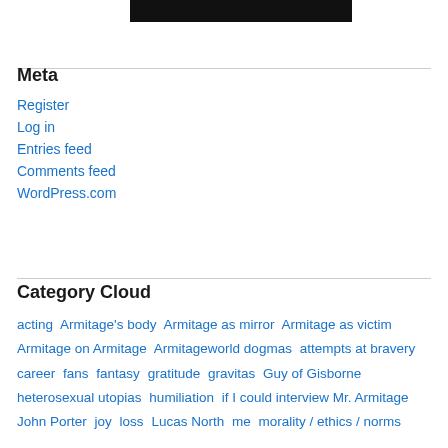[Figure (other): Black rectangular banner/bar at top of page]
Meta
Register
Log in
Entries feed
Comments feed
WordPress.com
Category Cloud
acting  Armitage's body  Armitage as mirror  Armitage as victim  Armitage on Armitage  Armitageworld dogmas  attempts at bravery  career  fans  fantasy  gratitude  gravitas  Guy of Gisborne  heterosexual utopias  humiliation  if I could interview Mr. Armitage  John Porter  joy  loss  Lucas North  me  morality / ethics / norms